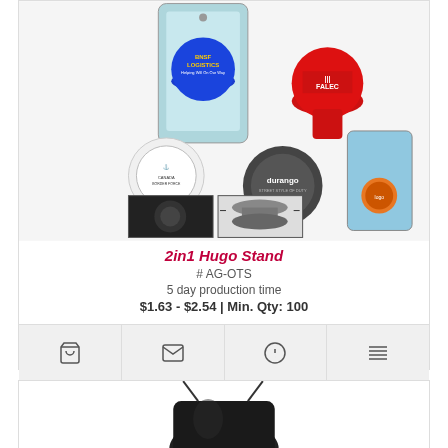[Figure (photo): Product photo of 2in1 Hugo Stand - various colored pop socket style phone grips/stands with custom logos including BNSF Logistics, Falec, Durango, and others. Shows product in use and collapsed/expanded views.]
2in1 Hugo Stand
# AG-OTS
5 day production time
$1.63 - $2.54 | Min. Qty: 100
[Figure (photo): Bottom portion of second product card showing a black drawstring bag]